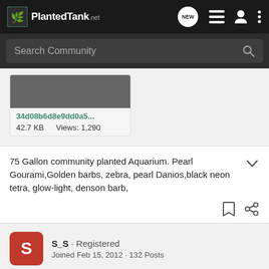PlantedTank
Search Community
34d08b6d8e9dd0a5...
42.7 KB   Views: 1,290
75 Gallon community planted Aquarium. Pearl Gourami,Golden barbs, zebra, pearl Danios,black neon tetra, glow-light, denson barb,
S_S · Registered
Joined Feb 15, 2012 · 132 Posts
#2 · Mar 24, 2016
Tetras are Gymnocorymbus ternetzi